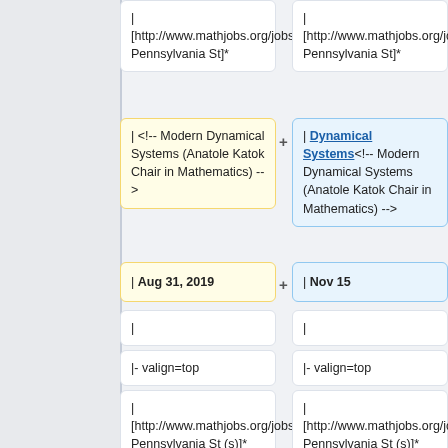| [http://www.mathjobs.org/jobs/jobs/12216 Pennsylvania St]*
| [http://www.mathjobs.org/jobs/jobs/12216 Pennsylvania St]*
| <!-- Modern Dynamical Systems (Anatole Katok Chair in Mathematics) -->
| Dynamical Systems<!-- Modern Dynamical Systems (Anatole Katok Chair in Mathematics) -->
| Aug 31, 2019
| Nov 15
|
|
|- valign=top
|- valign=top
| [http://www.mathjobs.org/jobs/jobs/12340 Pennsylvania St (s)]*
| [http://www.mathjobs.org/jobs/jobs/12340 Pennsylvania St (s)]*